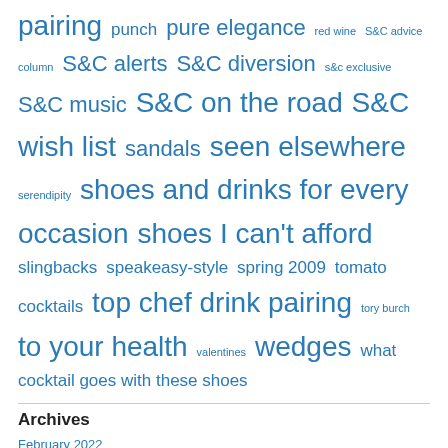pairing punch pure elegance red wine S&C advice column S&C alerts S&C diversion s&c exclusive S&C music S&C on the road S&C wish list sandals seen elsewhere serendipity shoes and drinks for every occasion shoes I can't afford slingbacks speakeasy-style spring 2009 tomato cocktails top chef drink pairing tory burch to your health valentines wedges what cocktail goes with these shoes
Archives
February 2022
January 2022